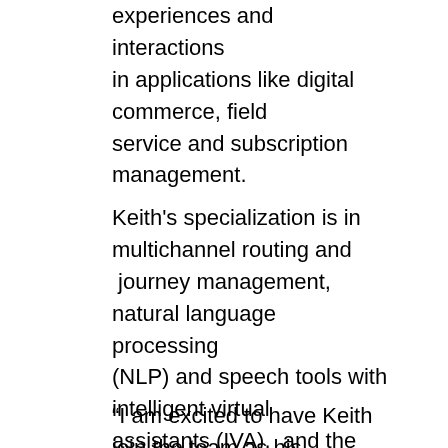experiences and interactions in applications like digital commerce, field service and subscription management.
Keith's specialization is in multichannel routing and journey management, natural language processing (NLP) and speech tools with intelligent virtual assistants (IVA), and the wide array of customer analytics. He is focused on how businesses can break down technology and operational silos to provide more efficient processes for two-way engagement with customers. Keith helps organizations influence customer behavior and create profitable environments that turn customers into brand advocates.
“I am excited to have Keith join the team as his three decades covering customer service and contact centers, specializing in how to facilitate